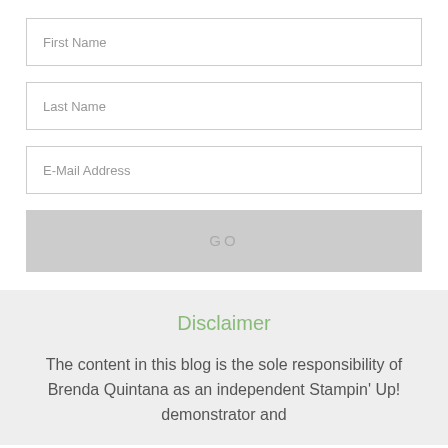First Name
Last Name
E-Mail Address
GO
Disclaimer
The content in this blog is the sole responsibility of Brenda Quintana as an independent Stampin' Up! demonstrator and